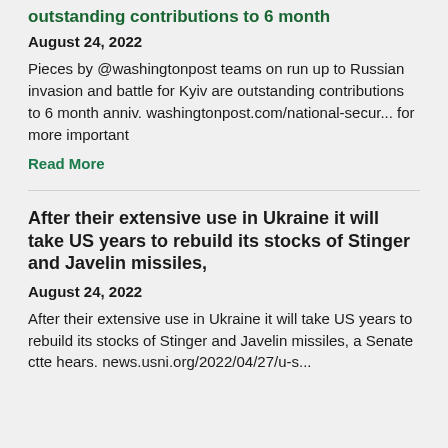outstanding contributions to 6 month
August 24, 2022
Pieces by @washingtonpost teams on run up to Russian invasion and battle for Kyiv are outstanding contributions to 6 month anniv. washingtonpost.com/national-secur... for more important
Read More
After their extensive use in Ukraine it will take US years to rebuild its stocks of Stinger and Javelin missiles,
August 24, 2022
After their extensive use in Ukraine it will take US years to rebuild its stocks of Stinger and Javelin missiles, a Senate ctte hears. news.usni.org/2022/04/27/u-s...